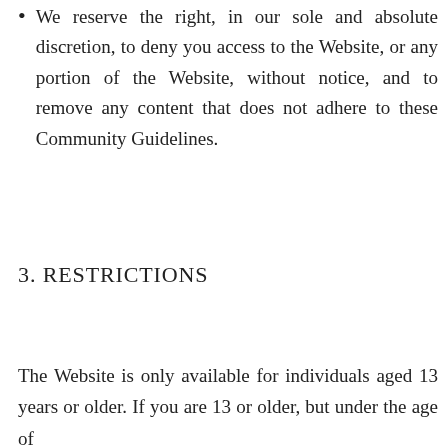We reserve the right, in our sole and absolute discretion, to deny you access to the Website, or any portion of the Website, without notice, and to remove any content that does not adhere to these Community Guidelines.
3. RESTRICTIONS
The Website is only available for individuals aged 13 years or older. If you are 13 or older, but under the age of...